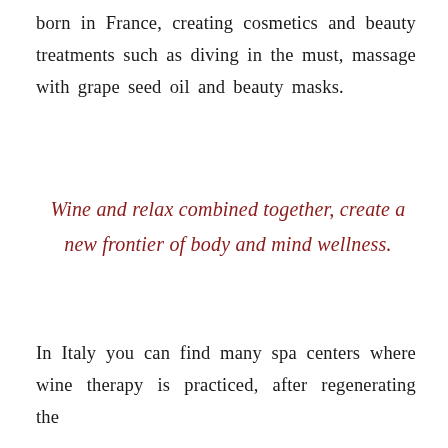born in France, creating cosmetics and beauty treatments such as diving in the must, massage with grape seed oil and beauty masks.
Wine and relax combined together, create a new frontier of body and mind wellness.
In Italy you can find many spa centers where wine therapy is practiced, after regenerating the